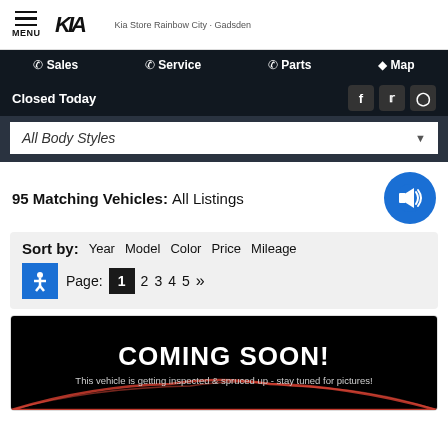MENU | Kia Store Rainbow City - Gadsden
Sales | Service | Parts | Map
Closed Today
All Body Styles
95 Matching Vehicles: All Listings
Sort by: Year Model Color Price Mileage
Page: 1 2 3 4 5 »
[Figure (screenshot): Coming Soon! This vehicle is getting inspected & spruced up - stay tuned for pictures! Image shows red car silhouette on black background.]